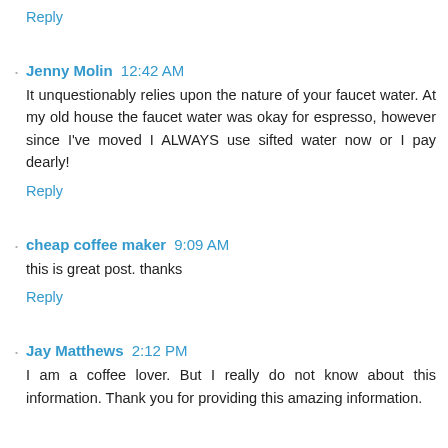Reply
Jenny Molin  12:42 AM
It unquestionably relies upon the nature of your faucet water. At my old house the faucet water was okay for espresso, however since I've moved I ALWAYS use sifted water now or I pay dearly!
Reply
cheap coffee maker  9:09 AM
this is great post. thanks
Reply
Jay Matthews  2:12 PM
I am a coffee lover. But I really do not know about this information. Thank you for providing this amazing information.